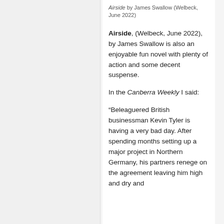Airside by James Swallow (Welbeck, June 2022)
Airside, (Welbeck, June 2022), by James Swallow is also an enjoyable fun novel with plenty of action and some decent suspense.
In the Canberra Weekly I said:
“Beleaguered British businessman Kevin Tyler is having a very bad day. After spending months setting up a major project in Northern Germany, his partners renege on the agreement leaving him high and dry and